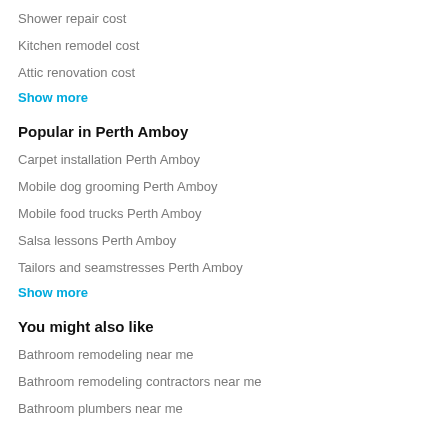Shower repair cost
Kitchen remodel cost
Attic renovation cost
Show more
Popular in Perth Amboy
Carpet installation Perth Amboy
Mobile dog grooming Perth Amboy
Mobile food trucks Perth Amboy
Salsa lessons Perth Amboy
Tailors and seamstresses Perth Amboy
Show more
You might also like
Bathroom remodeling near me
Bathroom remodeling contractors near me
Bathroom plumbers near me